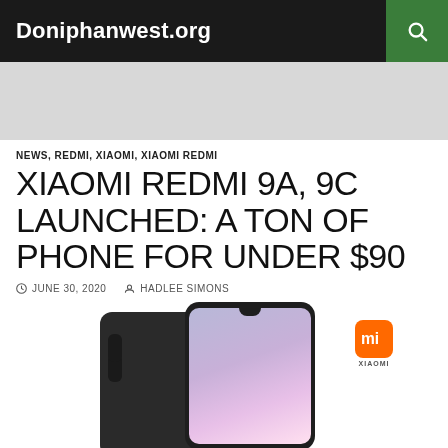Doniphanwest.org
NEWS, REDMI, XIAOMI, XIAOMI REDMI
XIAOMI REDMI 9A, 9C LAUNCHED: A TON OF PHONE FOR UNDER $90
JUNE 30, 2020  HADLEE SIMONS
[Figure (photo): Two Xiaomi Redmi phones shown front and back in dark color, with Xiaomi MI logo in orange square displayed to the right]